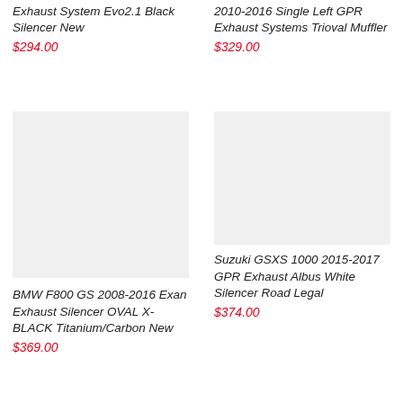Exhaust System Evo2.1 Black Silencer New
$294.00
2010-2016 Single Left GPR Exhaust Systems Trioval Muffler
$329.00
[Figure (photo): Product image placeholder - BMW F800 GS exhaust silencer]
BMW F800 GS 2008-2016 Exan Exhaust Silencer OVAL X-BLACK Titanium/Carbon New
$369.00
[Figure (photo): Product image placeholder - Suzuki GSXS 1000 exhaust]
Suzuki GSXS 1000 2015-2017 GPR Exhaust Albus White Silencer Road Legal
$374.00